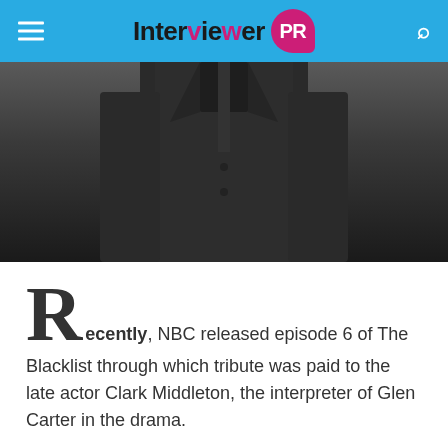Interviewer PR
[Figure (photo): Dark photograph of a person in a dark suit, partially visible from chest area.]
Recently, NBC released episode 6 of The Blacklist through which tribute was paid to the late actor Clark Middleton, the interpreter of Glen Carter in the drama.